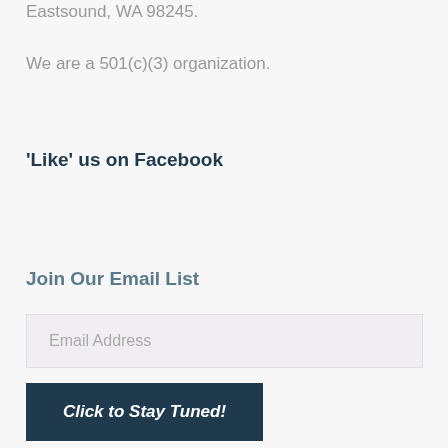Eastsound, WA 98245.
We are a 501(c)(3) organization.
'Like' us on Facebook
Join Our Email List
Email Address
Click to Stay Tuned!